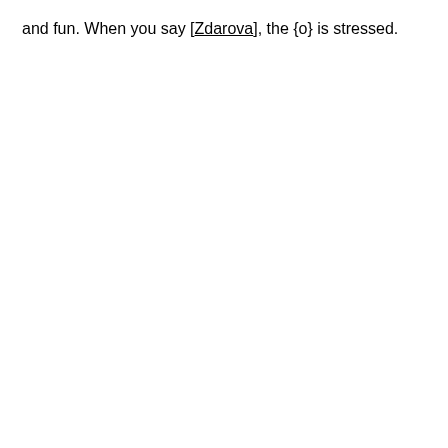and fun. When you say [Zdarova], the {o} is stressed.